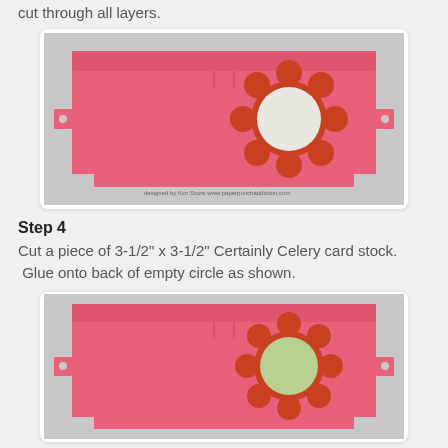cut through all layers.
[Figure (photo): Pink card stock craft die-cut piece laid flat, showing a flower-shaped punch with a white circle in the center on the right side, with notched corners. Watermark text: designed by Kim Score www.paperpunchaddiction.com]
Step 4
Cut a piece of 3-1/2" x 3-1/2" Certainly Celery card stock. Glue onto back of empty circle as shown.
[Figure (photo): Pink card stock craft die-cut piece laid flat, showing a flower-shaped punch with a green/celery circle in the center on the right side, with notched corners.]